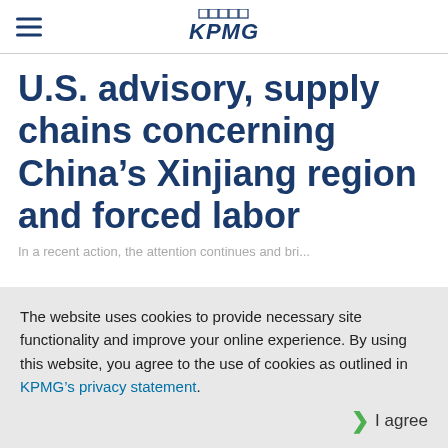KPMG
U.S. advisory, supply chains concerning China's Xinjiang region and forced labor
The website uses cookies to provide necessary site functionality and improve your online experience. By using this website, you agree to the use of cookies as outlined in KPMG's privacy statement.
I agree